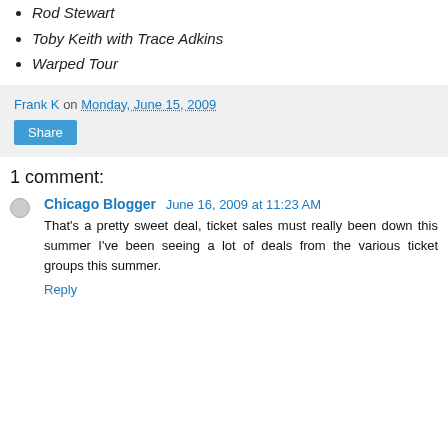Rod Stewart
Toby Keith with Trace Adkins
Warped Tour
Frank K on Monday, June 15, 2009
Share
1 comment:
Chicago Blogger  June 16, 2009 at 11:23 AM
That's a pretty sweet deal, ticket sales must really been down this summer I've been seeing a lot of deals from the various ticket groups this summer.
Reply